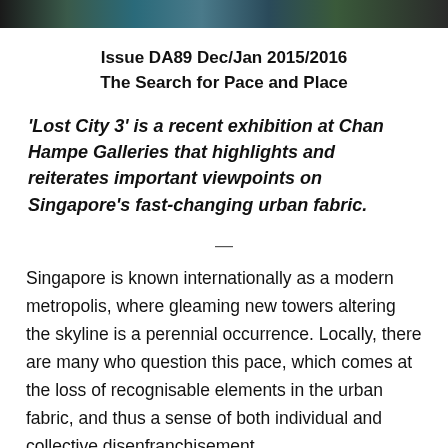[Figure (photo): Cropped banner image at top of page showing urban or artistic imagery in dark tones]
Issue DA89 Dec/Jan 2015/2016
The Search for Pace and Place
'Lost City 3' is a recent exhibition at Chan Hampe Galleries that highlights and reiterates important viewpoints on Singapore's fast-changing urban fabric.
—
Singapore is known internationally as a modern metropolis, where gleaming new towers altering the skyline is a perennial occurrence. Locally, there are many who question this pace, which comes at the loss of recognisable elements in the urban fabric, and thus a sense of both individual and collective disenfranchisement.